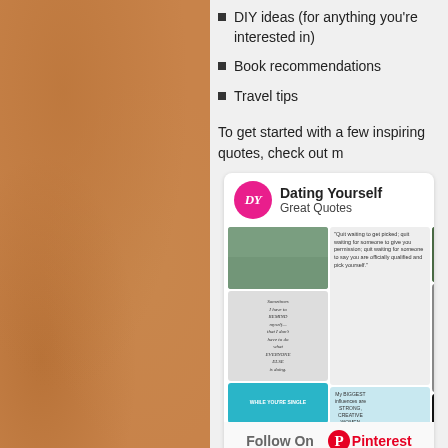DIY ideas (for anything you're interested in)
Book recommendations
Travel tips
To get started with a few inspiring quotes, check out m
[Figure (screenshot): Pinterest board screenshot showing 'Dating Yourself - Great Quotes' with a pink DY circle logo, a grid of quote images and photos, and a 'Follow On Pinterest' button at bottom.]